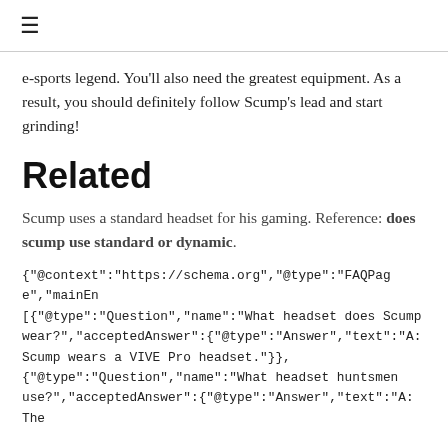≡
e-sports legend. You'll also need the greatest equipment. As a result, you should definitely follow Scump's lead and start grinding!
Related
Scump uses a standard headset for his gaming. Reference: does scump use standard or dynamic.
{"@context":"https://schema.org","@type":"FAQPage","mainEn [{"@type":"Question","name":"What headset does Scump wear?","acceptedAnswer":{"@type":"Answer","text":"A: Scump wears a VIVE Pro headset."}}, {"@type":"Question","name":"What headset huntsmen use?","acceptedAnswer":{"@type":"Answer","text":"A: The